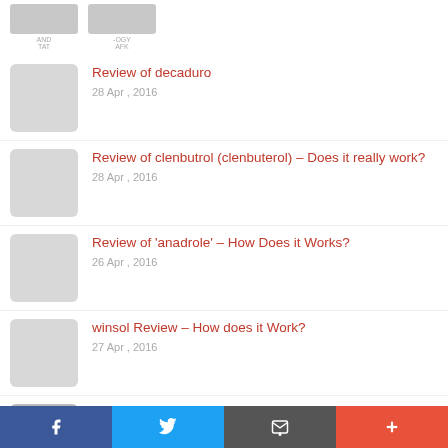[Figure (screenshot): Two small thumbnail images from a previous article listing at the top]
Review of decaduro
28 Apr , 2016
Review of clenbutrol (clenbuterol) – Does it really work?
28 Apr , 2016
Review of 'anadrole' – How Does it Works?
26 Apr , 2016
winsol Review – How does it Work?
27 Apr , 2016
Top closest supplements to steroids For
f  [Twitter bird]  [email]  +